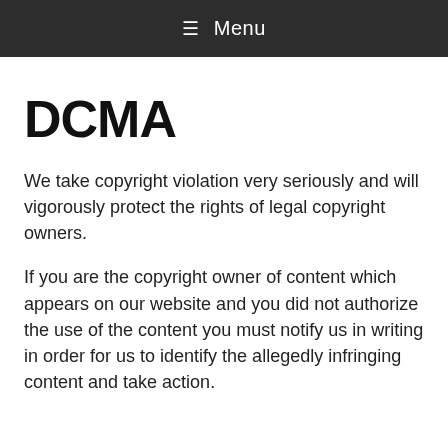≡ Menu
DCMA
We take copyright violation very seriously and will vigorously protect the rights of legal copyright owners.
If you are the copyright owner of content which appears on our website and you did not authorize the use of the content you must notify us in writing in order for us to identify the allegedly infringing content and take action.